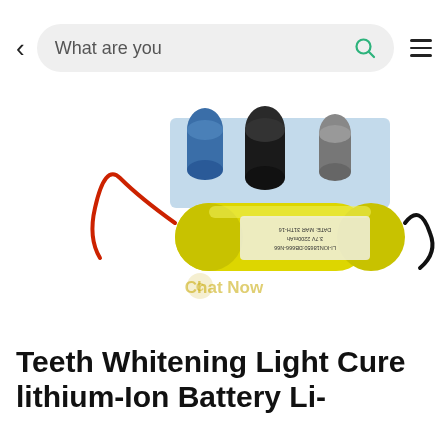< What are you [search bar with icon] ≡
[Figure (photo): A yellow cylindrical 18650 lithium-ion battery (3.7V 2200mAh, date MAR 31TH-16) lying horizontally with red and black wires attached, alongside other electronic components on a circuit board. A watermark reads 'Chat Now'.]
Teeth Whitening Light Cure lithium-Ion Battery Li-